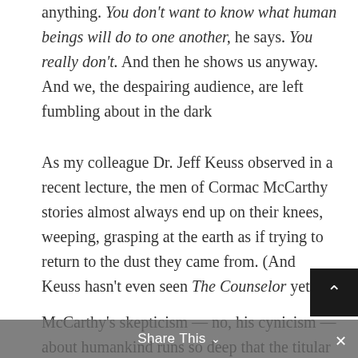anything. You don't want to know what human beings will do to one another, he says. You really don't. And then he shows us anyway. And we, the despairing audience, are left fumbling about in the dark
As my colleague Dr. Jeff Keuss observed in a recent lecture, the men of Cormac McCarthy stories almost always end up on their knees, weeping, grasping at the earth as if trying to return to the dust they came from. (And Keuss hasn't even seen The Counselor yet!)
McCarthy's skepticism — no, his cynicism — about humankind runs so deep that the titular character in his new screenplay, The Counselor — which has been swiftly realized for the big screen by the legendary
Share This